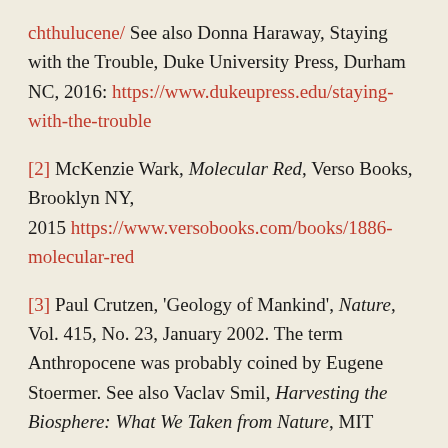chthulucene/ See also Donna Haraway, Staying with the Trouble, Duke University Press, Durham NC, 2016: https://www.dukeupress.edu/staying-with-the-trouble
[2] McKenzie Wark, Molecular Red, Verso Books, Brooklyn NY, 2015 https://www.versobooks.com/books/1886-molecular-red
[3] Paul Crutzen, 'Geology of Mankind', Nature, Vol. 415, No. 23, January 2002. The term Anthropocene was probably coined by Eugene Stoermer. See also Vaclav Smil, Harvesting the Biosphere: What We Taken from Nature, MIT